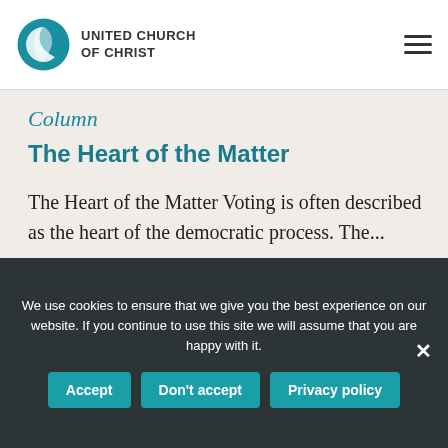UNITED CHURCH OF CHRIST
Column
The Heart of the Matter
The Heart of the Matter Voting is often described as the heart of the democratic process. The...
We use cookies to ensure that we give you the best experience on our website. If you continue to use this site we will assume that you are happy with it.